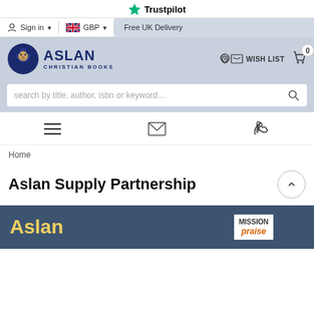★ Trustpilot
Sign in  |  GBP  |  Free UK Delivery
[Figure (logo): Aslan Christian Books logo with lion head icon]
WISH LIST  0 (cart)
search by title, author, isbn or keyword...
[Figure (infographic): Toolbar icons: hamburger menu, envelope/email, phone]
Home
Aslan Supply Partnership
[Figure (illustration): Aslan banner showing 'Aslan' in yellow text on dark blue background, with Mission Praise book thumbnail and colourful paint splatter]